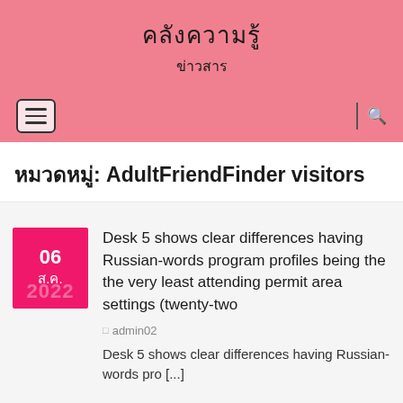คลังความรู้
ข่าวสาร
หมวดหมู่: AdultFriendFinder visitors
Desk 5 shows clear differences having Russian-words program profiles being the the very least attending permit area settings (twenty-two
admin02
Desk 5 shows clear differences having Russian-words pro [...]